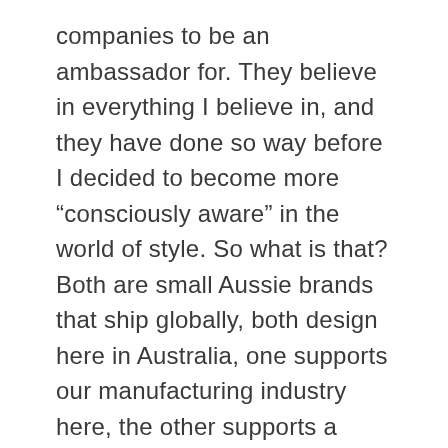companies to be an ambassador for. They believe in everything I believe in, and they have done so way before I decided to become more “consciously aware” in the world of style. So what is that? Both are small Aussie brands that ship globally, both design here in Australia, one supports our manufacturing industry here, the other supports a small free range goat herding family and a family based manufacturer in Inner Mongolia. Both ensure that all the workers (and the animals) involved are respected, treated well and paid fairly. And both companies send their item in recyclable packaging and of course, they both also sell the most incredible stylish